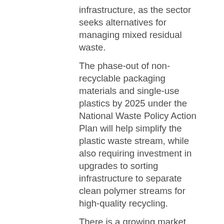infrastructure, as the sector seeks alternatives for managing mixed residual waste. The phase-out of non-recyclable packaging materials and single-use plastics by 2025 under the National Waste Policy Action Plan will help simplify the plastic waste stream, while also requiring investment in upgrades to sorting infrastructure to separate clean polymer streams for high-quality recycling. There is a growing market opportunity for tyre-derived products in Australia in road, rail and non-structural civil projects, including bitumen-crumb rubber asphalt, bitumen-modified spray seals and soft-fall matting. Policy implementation could drive investment and employment opportunities. The report noted the positive impact of policies around the application and increasing of landfill levies, waste export bans and requirements for increased source separation.